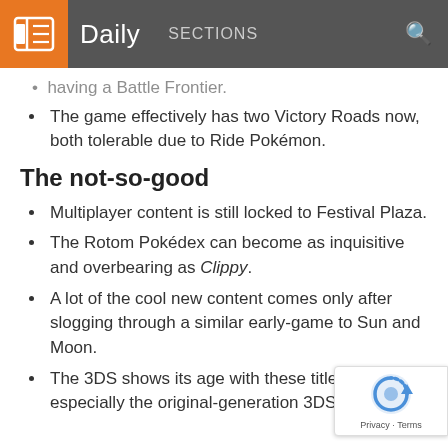Daily  SECTIONS
having a Battle Frontier.
The game effectively has two Victory Roads now, both tolerable due to Ride Pokémon.
The not-so-good
Multiplayer content is still locked to Festival Plaza.
The Rotom Pokédex can become as inquisitive and overbearing as Clippy.
A lot of the cool new content comes only after slogging through a similar early-game to Sun and Moon.
The 3DS shows its age with these titles, especially the original-generation 3DS models.